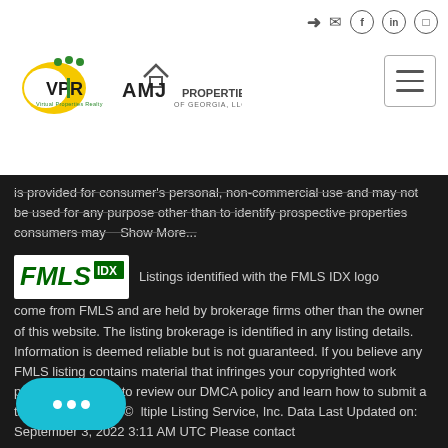[Figure (logo): VPR Virtual Properties Realty logo - yellow crescent with green dots and VPR text]
[Figure (logo): AMJ Properties of Georgia LLC logo with house roof icon]
is provided for consumer's personal, non-commercial use and may not be used for any purpose other than to identify prospective properties consumers may   Show More...
[Figure (logo): FMLS IDX logo - green text on white background]
Listings identified with the FMLS IDX logo come from FMLS and are held by brokerage firms other than the owner of this website. The listing brokerage is identified in any listing details. Information is deemed reliable but is not guaranteed. If you believe any FMLS listing contains material that infringes your copyrighted work please   click here to review our DMCA policy and learn how to submit a takedown request. © Multiple Listing Service, Inc. Data Last Updated on: September 3, 2022 3:11 AM UTC Please contact